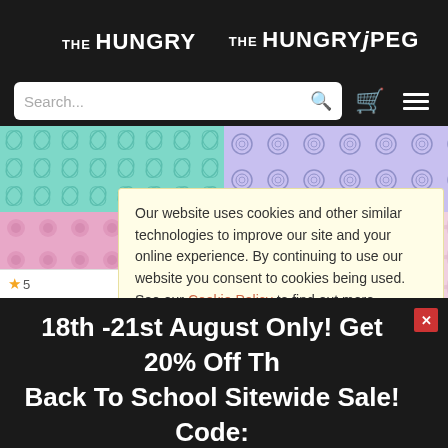[Figure (logo): The Hungry JPEG logo in white text on dark background]
[Figure (screenshot): Search bar with cart and menu icons on dark background]
[Figure (illustration): Four decorative pattern swatches: teal leaf pattern, purple rose pattern, pink floral pattern, light pink pattern]
Our website uses cookies and other similar technologies to improve our site and your online experience. By continuing to use our website you consent to cookies being used. See our Cookie Policy to find out more.
18th -21st August Only! Get 20% Off The Back To School Sitewide Sale! Code: BTOS20